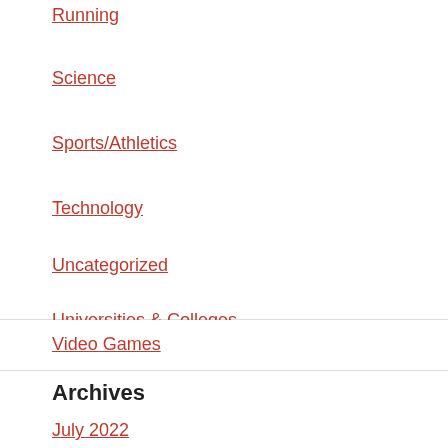Running
Science
Sports/Athletics
Technology
Uncategorized
Universities & Colleges
Video Games
Archives
July 2022